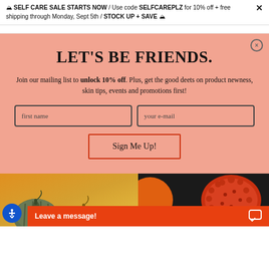🏔 SELF CARE SALE STARTS NOW / Use code SELFCAREPLZ for 10% off + free shipping through Monday, Sept 5th / STOCK UP + SAVE 🏔 ✕
LET'S BE FRIENDS.
Join our mailing list to unlock 10% off. Plus, get the good deets on product newness, skin tips, events and promotions first!
first name | your e-mail
Sign Me Up!
[Figure (photo): Photo strip showing decorative pumpkins/gourds on orange and dark background]
Leave a message!